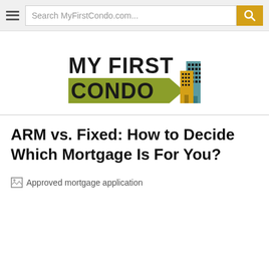Search MyFirstCondo.com...
[Figure (logo): My First Condo logo with building icons in olive/teal/gold colors]
ARM vs. Fixed: How to Decide Which Mortgage Is For You?
[Figure (photo): Approved mortgage application (broken image)]